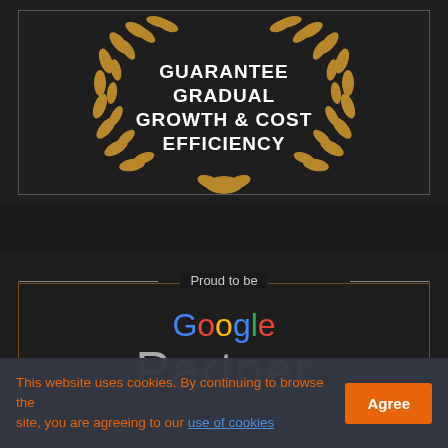[Figure (logo): Gold laurel wreath badge with white bold text reading GUARANTEE GRADUAL GROWTH & COST EFFICIENCY on dark background]
Proud to be
[Figure (logo): Google Partner logo: colorful Google wordmark above large gray Partner text]
This website uses cookies. By continuing to browse the site, you are agreeing to our use of cookies